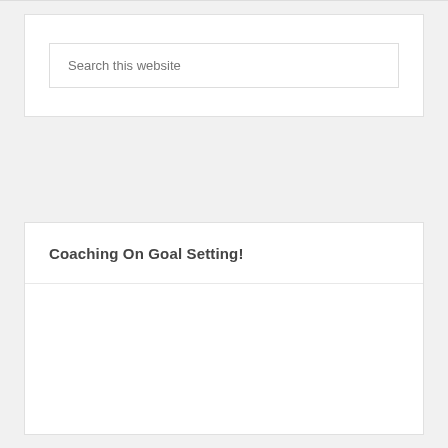Search this website
Coaching On Goal Setting!